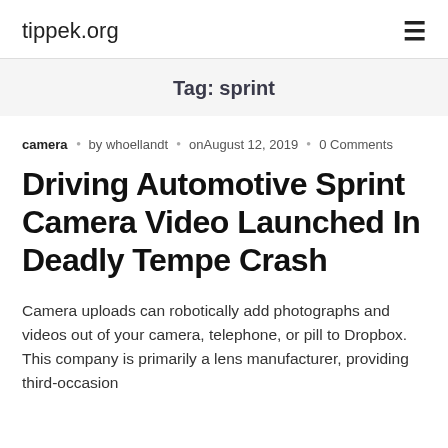tippek.org
Tag: sprint
camera  by whoellandt  onAugust 12, 2019  0 Comments
Driving Automotive Sprint Camera Video Launched In Deadly Tempe Crash
Camera uploads can robotically add photographs and videos out of your camera, telephone, or pill to Dropbox. This company is primarily a lens manufacturer, providing third-occasion